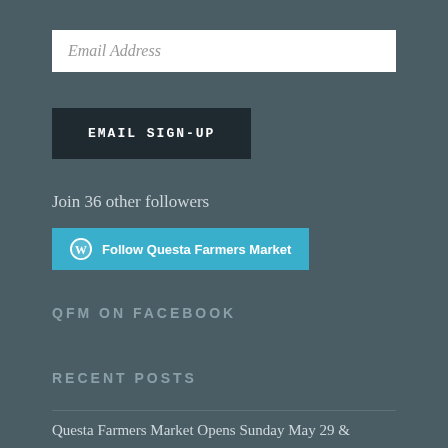[Figure (other): Email address input field (white text box with placeholder text 'Email Address')]
[Figure (other): Dark button labeled 'EMAIL SIGN-UP' in uppercase bold monospace lettering]
Join 36 other followers
[Figure (other): Teal 'Follow Questa Farmers Market' button with WordPress logo icon]
QFM ON FACEBOOK
RECENT POSTS
Questa Farmers Market Opens Sunday May 29 &